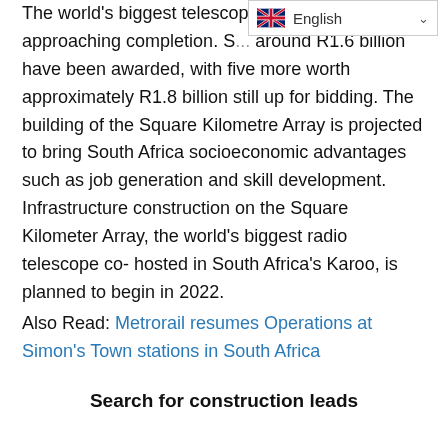The world's biggest telescope, th... is rapidly approaching completion. S... around R1.6 billion have been awarded, with five more worth approximately R1.8 billion still up for bidding. The building of the Square Kilometre Array is projected to bring South Africa socioeconomic advantages such as job generation and skill development. Infrastructure construction on the Square Kilometer Array, the world's biggest radio telescope co-hosted in South Africa's Karoo, is planned to begin in 2022.
Also Read: Metrorail resumes Operations at Simon's Town stations in South Africa
Search for construction leads